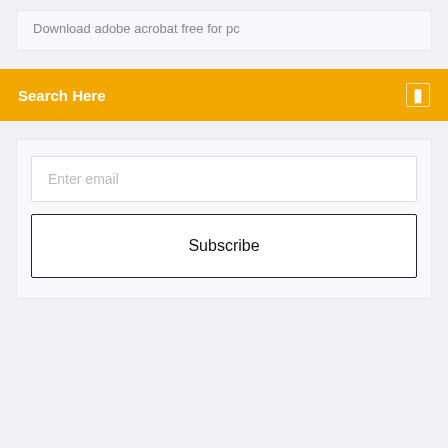Download adobe acrobat free for pc
Search Here
Enter email
Subscribe